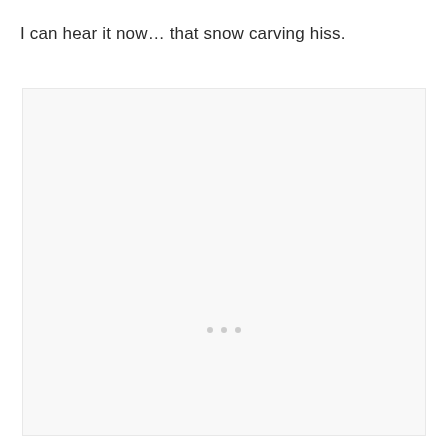I can hear it now… that snow carving hiss.
[Figure (photo): A large near-blank light gray image placeholder box with three small dots near the bottom center, suggesting a loading or empty image state.]